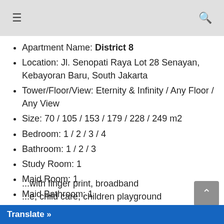≡  🔍
Apartment Name: District 8
Location: Jl. Senopati Raya Lot 28 Senayan, Kebayoran Baru, South Jakarta
Tower/Floor/View: Eternity & Infinity / Any Floor / Any View
Size: 70 / 105 / 153 / 179 / 228 / 249 m2
Bedroom: 1 / 2 / 3 / 4
Bathroom: 1 / 2 / 3
Study Room: 1
Maid Room: 1
Maid Bathroom: 1
Condition: Full Furnished / Semi Furnished
Facility:
...with finger print, broadband ...e, child care, children playground